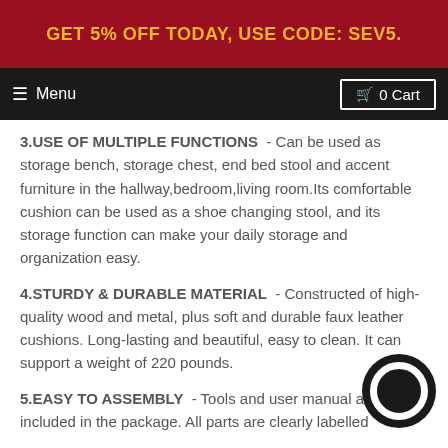GET 5% OFF TODAY, USE CODE: SEV5.
≡ Menu   🛒 0 Cart
3.USE OF MULTIPLE FUNCTIONS  - Can be used as storage bench, storage chest, end bed stool and accent furniture in the hallway,bedroom,living room.Its comfortable cushion can be used as a shoe changing stool, and its storage function can make your daily storage and organization easy.
4.STURDY & DURABLE MATERIAL  - Constructed of high-quality wood and metal, plus soft and durable faux leather cushions. Long-lasting and beautiful, easy to clean. It can support a weight of 220 pounds.
5.EASY TO ASSEMBLY  - Tools and user manual are included in the package. All parts are clearly labelled